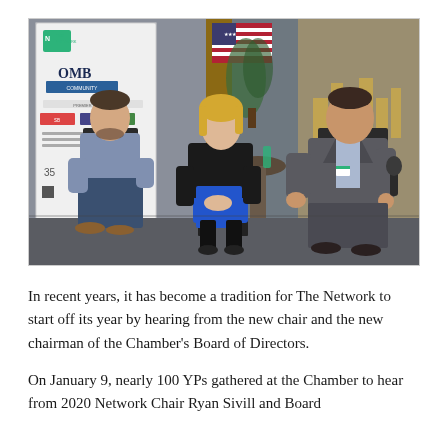[Figure (photo): A panel discussion with three people seated in chairs in front of a banner showing 'The Network' and 'OMB' logos, an American flag, and a wall with a gold cityscape logo. A man on the left sits casually, a woman in the middle wears a blue dress and black jacket, and a man on the right in a grey suit holds a microphone and speaks.]
In recent years, it has become a tradition for The Network to start off its year by hearing from the new chair and the new chairman of the Chamber's Board of Directors.
On January 9, nearly 100 YPs gathered at the Chamber to hear from 2020 Network Chair Ryan Sivill and Board